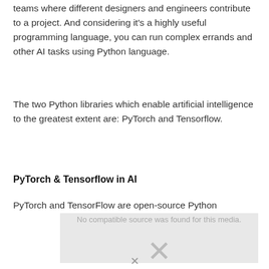teams where different designers and engineers contribute to a project. And considering it's a highly useful programming language, you can run complex errands and other AI tasks using Python language.
The two Python libraries which enable artificial intelligence to the greatest extent are: PyTorch and Tensorflow.
PyTorch & Tensorflow in AI
PyTorch and TensorFlow are open-source Python
[Figure (other): Media player placeholder showing 'No compatible source was found for this media.' with an X close button]